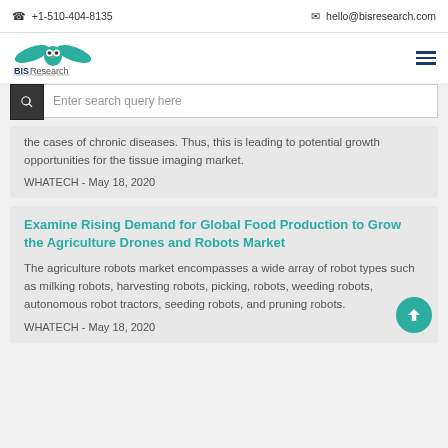+1-510-404-8135   hello@bisresearch.com
[Figure (logo): BIS Research logo with owl and teal wings]
Enter search query here
the cases of chronic diseases. Thus, this is leading to potential growth opportunities for the tissue imaging market.
WHATECH - May 18, 2020
Examine Rising Demand for Global Food Production to Grow the Agriculture Drones and Robots Market
The agriculture robots market encompasses a wide array of robot types such as milking robots, harvesting robots, picking, robots, weeding robots, autonomous robot tractors, seeding robots, and pruning robots.
WHATECH - May 18, 2020